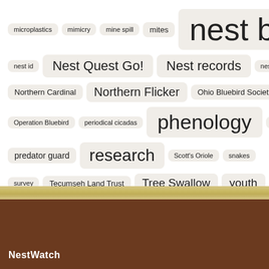[Figure (infographic): Tag cloud showing various NestWatch-related terms with size indicating frequency/importance. Terms include: microplastics, mimicry, mine spill, mites, nest box, nest id, Nest Quest Go!, Nest records, nest reuse, Northern Cardinal, Northern Flicker, Ohio Bluebird Society, Operation Bluebird, periodical cicadas, phenology, pollution, predator guard, research, Scott's Oriole, snakes, survey, Tecumseh Land Trust, Tree Swallow, youth, Zooniverse]
NestWatch